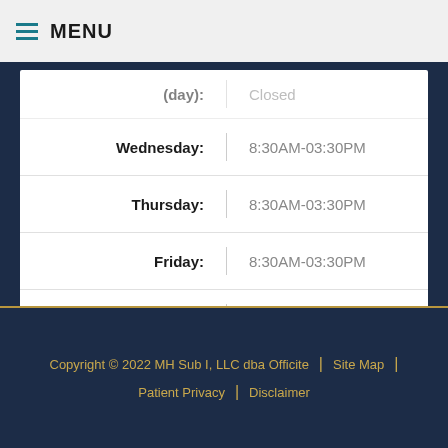MENU
| Day | Hours |
| --- | --- |
| (day) | Closed |
| Wednesday: | 8:30AM-03:30PM |
| Thursday: | 8:30AM-03:30PM |
| Friday: | 8:30AM-03:30PM |
| Saturday: | Closed |
| Sunday: | Closed |
Copyright © 2022 MH Sub I, LLC dba Officite | Site Map | Patient Privacy | Disclaimer